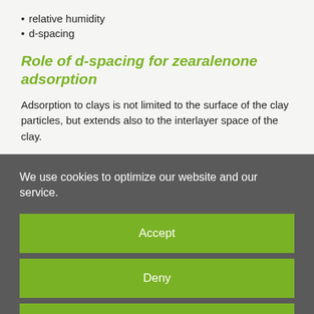• relative humidity
• d-spacing
Role of d-spacing for zearalenone adsorption
Adsorption to clays is not limited to the surface of the clay particles, but extends also to the interlayer space of the clay.
We use cookies to optimize our website and our service.
Accept
Deny
Preferences
Politica de cookies   Impressum